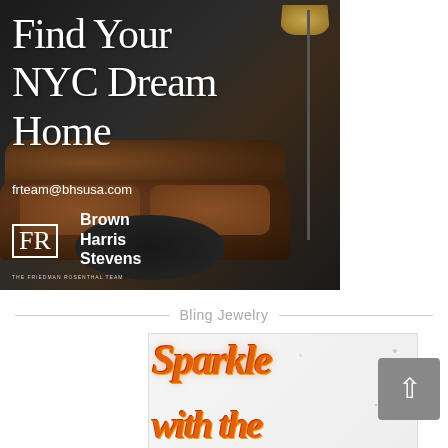[Figure (illustration): Real estate advertisement for Brown Harris Stevens featuring the FR (Friedman Rosenthal) Team. Dark background with leather sofa and floor lamp. Text reads: 'Find Your NYC Dream Home', 'frteam@bhsusa.com', Brown Harris Stevens logo.]
Bling Jewelry
[Figure (photo): Sparkle glitter text reading 'Sparkle' in orange/red holographic glitter on white/light background with scattered dots. Partially cut off second line of text below.]